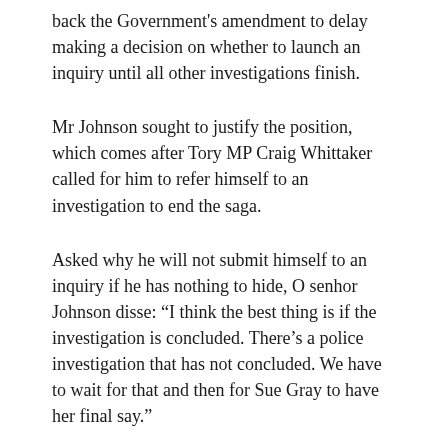back the Government's amendment to delay making a decision on whether to launch an inquiry until all other investigations finish.
Mr Johnson sought to justify the position, which comes after Tory MP Craig Whittaker called for him to refer himself to an investigation to end the saga.
Asked why he will not submit himself to an inquiry if he has nothing to hide, O senhor Johnson disse: “I think the best thing is if the investigation is concluded. There’s a police investigation that has not concluded. We have to wait for that and then for Sue Gray to have her final say.”
Pressed if he would back one after that point, ele disse: “I think we need to wait and see where it gets.”
A Government spokesperson said: “The Government has tabled an amendment to Labour’s motion which says that